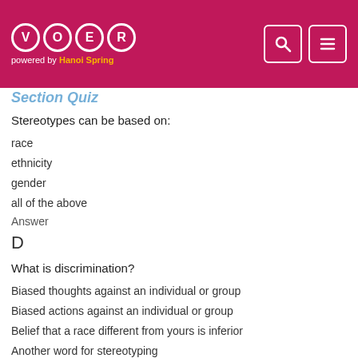VOER powered by Hanoi Spring
Section Quiz
Stereotypes can be based on:
race
ethnicity
gender
all of the above
Answer
D
What is discrimination?
Biased thoughts against an individual or group
Biased actions against an individual or group
Belief that a race different from yours is inferior
Another word for stereotyping
Answer
B
Which of the following is the best explanation of racism as a social fact?
It needs to be eradicated by laws.